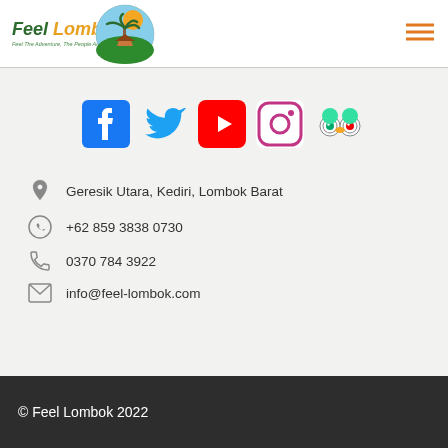Feel Lombok — Feel The Adventure, The People And The Culture
[Figure (logo): Feel Lombok circular logo with palm tree and tropical hut]
[Figure (infographic): Social media icons: Facebook, Twitter, YouTube, Instagram, TripAdvisor]
Geresik Utara, Kediri, Lombok Barat
+62 859 3838 0730
0370 784 3922
info@feel-lombok.com
© Feel Lombok 2022